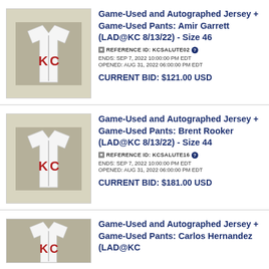[Figure (photo): KC baseball jersey on green background]
Game-Used and Autographed Jersey + Game-Used Pants: Amir Garrett (LAD@KC 8/13/22) - Size 46
REFERENCE ID: KCSALUTE02
ENDS: SEP 7, 2022 10:00:00 PM EDT
OPENED: AUG 31, 2022 06:00:00 PM EDT
CURRENT BID: $121.00 USD
[Figure (photo): KC baseball jersey on green background]
Game-Used and Autographed Jersey + Game-Used Pants: Brent Rooker (LAD@KC 8/13/22) - Size 44
REFERENCE ID: KCSALUTE16
ENDS: SEP 7, 2022 10:00:00 PM EDT
OPENED: AUG 31, 2022 06:00:00 PM EDT
CURRENT BID: $181.00 USD
[Figure (photo): KC baseball jersey on green background (partial)]
Game-Used and Autographed Jersey + Game-Used Pants: Carlos Hernandez (LAD@KC